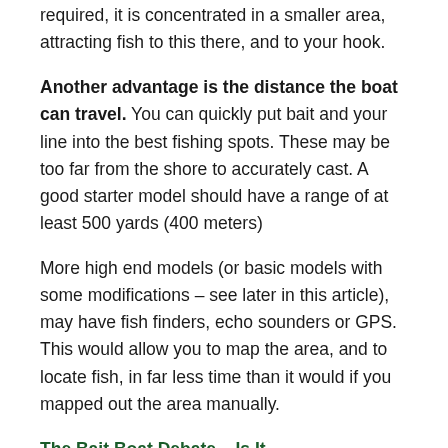required, it is concentrated in a smaller area, attracting fish to this there, and to your hook.
Another advantage is the distance the boat can travel. You can quickly put bait and your line into the best fishing spots. These may be too far from the shore to accurately cast. A good starter model should have a range of at least 500 yards (400 meters)
More high end models (or basic models with some modifications – see later in this article), may have fish finders, echo sounders or GPS. This would allow you to map the area, and to locate fish, in far less time than it would if you mapped out the area manually.
The Bait Boat Debate – Is It